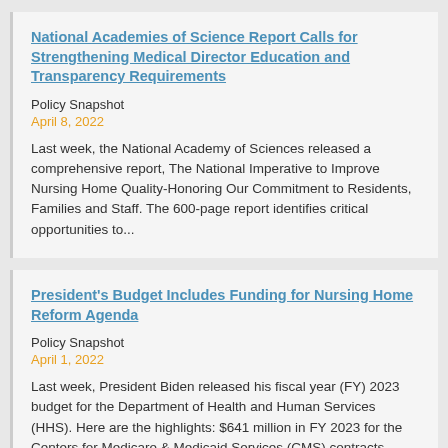National Academies of Science Report Calls for Strengthening Medical Director Education and Transparency Requirements
Policy Snapshot
April 8, 2022
Last week, the National Academy of Sciences released a comprehensive report, The National Imperative to Improve Nursing Home Quality-Honoring Our Commitment to Residents, Families and Staff. The 600-page report identifies critical opportunities to...
President's Budget Includes Funding for Nursing Home Reform Agenda
Policy Snapshot
April 1, 2022
Last week, President Biden released his fiscal year (FY) 2023 budget for the Department of Health and Human Services (HHS). Here are the highlights: $641 million in FY 2023 for the Centers for Medicare & Medicaid Services (CMS) contracts with...